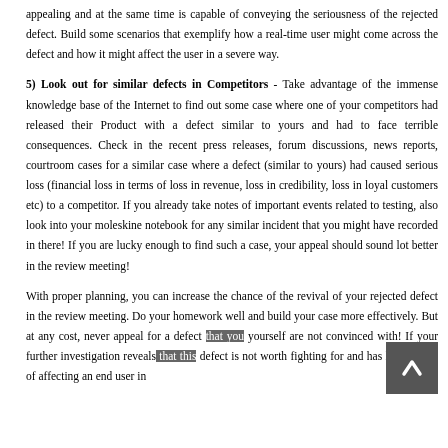appealing and at the same time is capable of conveying the seriousness of the rejected defect. Build some scenarios that exemplify how a real-time user might come across the defect and how it might affect the user in a severe way.
5) Look out for similar defects in Competitors - Take advantage of the immense knowledge base of the Internet to find out some case where one of your competitors had released their Product with a defect similar to yours and had to face terrible consequences. Check in the recent press releases, forum discussions, news reports, courtroom cases for a similar case where a defect (similar to yours) had caused serious loss (financial loss in terms of loss in revenue, loss in credibility, loss in loyal customers etc) to a competitor. If you already take notes of important events related to testing, also look into your moleskine notebook for any similar incident that you might have recorded in there! If you are lucky enough to find such a case, your appeal should sound lot better in the review meeting!
With proper planning, you can increase the chance of the revival of your rejected defect in the review meeting. Do your homework well and build your case more effectively. But at any cost, never appeal for a defect that you yourself are not convinced with! If your further investigation reveals that this defect is not worth fighting for and has less chance of affecting an end user in